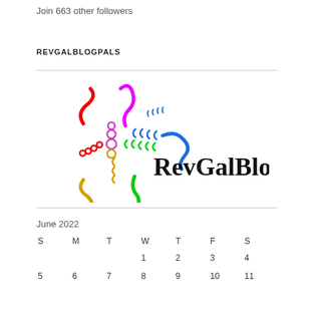Join 663 other followers
REVGALBLOGPALS
[Figure (logo): RevGalBlogPals logo with colorful squiggly lines and circles in red, magenta, blue, green, yellow colors surrounding the text 'RevGalBlogPals' in black serif font]
| S | M | T | W | T | F | S |
| --- | --- | --- | --- | --- | --- | --- |
|  |  |  | 1 | 2 | 3 | 4 |
| 5 | 6 | 7 | 8 | 9 | 10 | 11 |